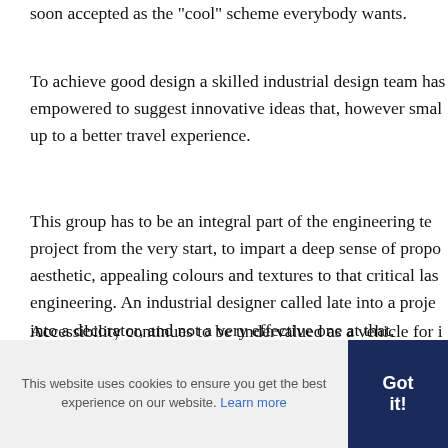soon accepted as the "cool" scheme everybody wants.
To achieve good design a skilled industrial design team has empowered to suggest innovative ideas that, however smal up to a better travel experience.
This group has to be an integral part of the engineering te project from the very start, to impart a deep sense of propo aesthetic, appealing colours and textures to that critical las engineering. An industrial designer called late into a proje into a decorator, and not a very effective one at that.
Accessibility continues to be undervalued as a vehicle for i the interior of trains for all riders. A radical approach is nee the Americans with Disabilities Act (ADA) and other acces
This website uses cookies to ensure you get the best experience on our website. Learn more
Got it!